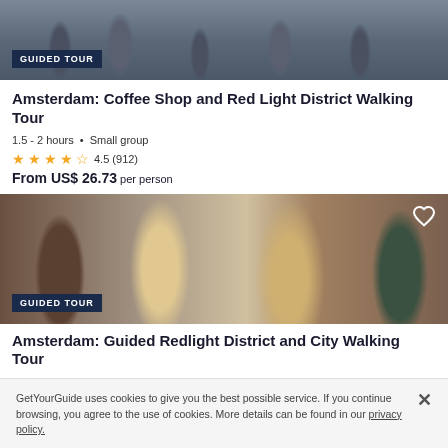[Figure (photo): Street scene with pedestrians walking in Amsterdam]
GUIDED TOUR
Amsterdam: Coffee Shop and Red Light District Walking Tour
1.5 - 2 hours • Small group
4.5 (912)
From US$ 26.73 per person
[Figure (photo): Group of tourists on a guided walking tour in Amsterdam streets]
GUIDED TOUR
Amsterdam: Guided Redlight District and City Walking Tour
GetYourGuide uses cookies to give you the best possible service. If you continue browsing, you agree to the use of cookies. More details can be found in our privacy policy.